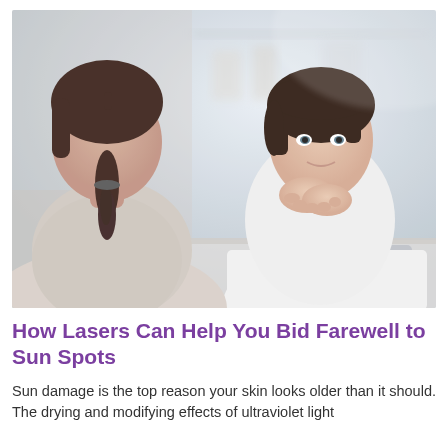[Figure (photo): A female doctor in a white coat sitting across from a female patient in a medical office setting. The doctor is leaning forward with her hands clasped, attentively listening. A tablet is visible on the desk. The background shows a blurred clinical environment.]
How Lasers Can Help You Bid Farewell to Sun Spots
Sun damage is the top reason your skin looks older than it should. The drying and modifying effects of ultraviolet light